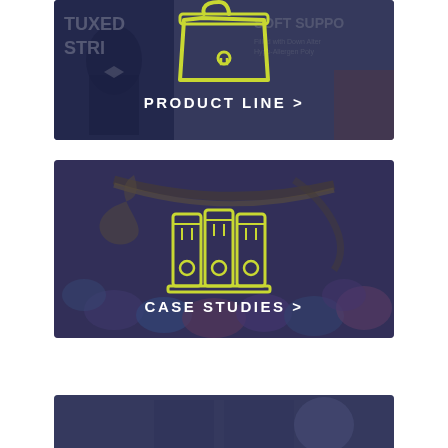[Figure (infographic): Card banner with dark blue overlay over a product photo (tuxedo/clothing store), yellow shopping bag icon, and white bold text 'PRODUCT LINE >']
[Figure (infographic): Card banner with dark blue overlay over colorful candy/eggs photo, yellow filing cabinet/binders icon, and white bold text 'CASE STUDIES >']
[Figure (infographic): Partial card banner with dark blue overlay, partially visible at bottom of page]